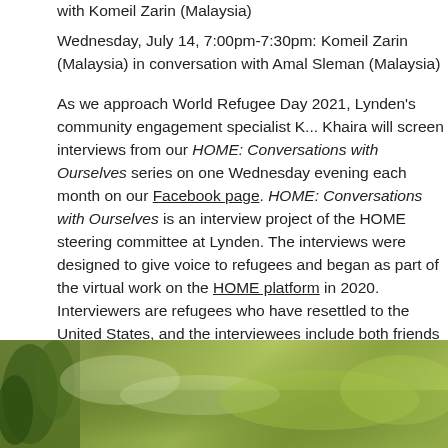with Komeil Zarin (Malaysia)
Wednesday, July 14, 7:00pm-7:30pm: Komeil Zarin (Malaysia) in conversation with Amal Sleman (Malaysia)
As we approach World Refugee Day 2021, Lynden's community engagement specialist K... Khaira will screen interviews from our HOME: Conversations with Ourselves series on one Wednesday evening each month on our Facebook page. HOME: Conversations with Ourselves is an interview project of the HOME steering committee at Lynden. The interviews were designed to give voice to refugees and began as part of the virtual work on the HOME platform in 2020. Interviewers are refugees who have resettled to the United States, and the interviewees include both friends and family who are based in Milwaukee, Wisconsin, as well as those who remain overseas. These interviews are reflections of relationships and conversations that we continue to have long after resettlement; they explore issues that our refugee friends and family members continue to face as they remain in their country of origin or interim country.
Dog Days at Lynden
July 17, 2021 - 10:00am - 4:00pm
[Figure (photo): Outdoor photo showing green grass and foliage, likely a garden or park setting at Lynden.]